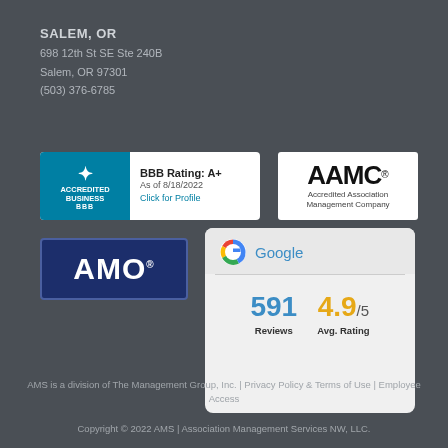SALEM, OR
698 12th St SE Ste 240B
Salem, OR 97301
(503) 376-6785
[Figure (logo): BBB Accredited Business badge with rating A+, As of 8/18/2022, Click for Profile]
[Figure (logo): AAMC Accredited Association Management Company logo]
[Figure (logo): AMO logo in dark blue rectangle]
[Figure (infographic): Google review box showing 591 Reviews and 4.9/5 Avg. Rating]
AMS is a division of The Management Group, Inc. | Privacy Policy & Terms of Use | Employee Access
Copyright © 2022 AMS | Association Management Services NW, LLC.